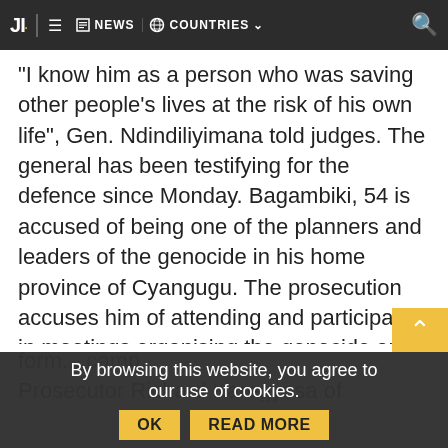JI. NEWS COUNTRIES
"I know him as a person who was saving other people's lives at the risk of his own life", Gen. Ndindiliyimana told judges. The general has been testifying for the defence since Monday. Bagambiki, 54 is accused of being one of the planners and leaders of the genocide in his home province of Cyangugu. The prosecution accuses him of attending and participating in meetings organising the genocide and coordinating killings of ethnic Tutsis throughout the genocide. He is jointly on trial with two former leaders from Cyangugu. They are; former minister of transport and telecommunications, Andre Ntagerura a form... camp... Prosecutor Richard Karegyesa of Uganda.
By browsing this website, you agree to our use of cookies.